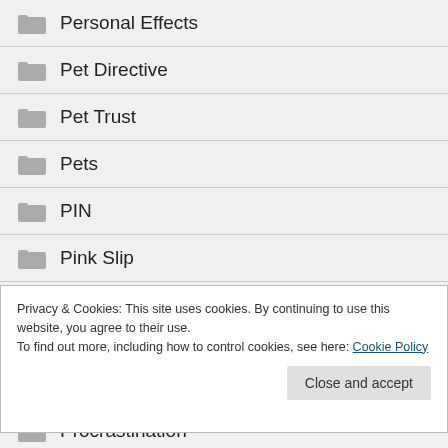Personal Effects
Pet Directive
Pet Trust
Pets
PIN
Pink Slip
Pour-Over Will
Privacy & Cookies: This site uses cookies. By continuing to use this website, you agree to their use.
To find out more, including how to control cookies, see here: Cookie Policy
Procrastination